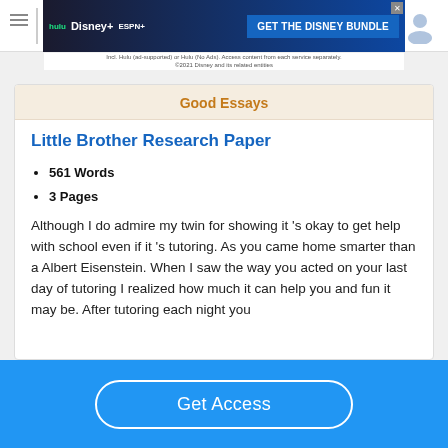[Figure (screenshot): Disney Bundle advertisement banner with Hulu, Disney+, ESPN+ logos and 'GET THE DISNEY BUNDLE' CTA button]
Good Essays
Little Brother Research Paper
561 Words
3 Pages
Although I do admire my twin for showing it 's okay to get help with school even if it 's tutoring. As you came home smarter than a Albert Eisenstein. When I saw the way you acted on your last day of tutoring I realized how much it can help you and fun it may be. After tutoring each night you
[Figure (screenshot): Get Access button on blue background]